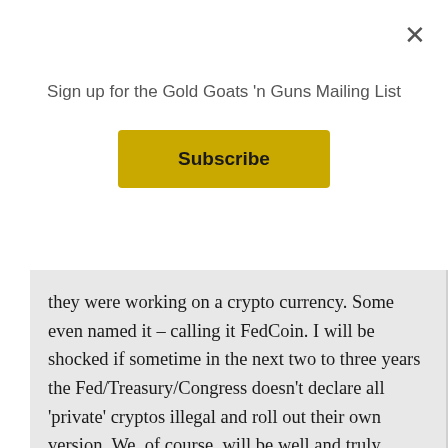Sign up for the Gold Goats 'n Guns Mailing List
Subscribe
they were working on a crypto currency. Some even named it – calling it FedCoin. I will be shocked if sometime in the next two to three years the Fed/Treasury/Congress doesn't declare all 'private' cryptos illegal and roll out their own version. We, of course, will be well and truly screwed at that point.

Speculating further, I believe there were most likely several reasons for